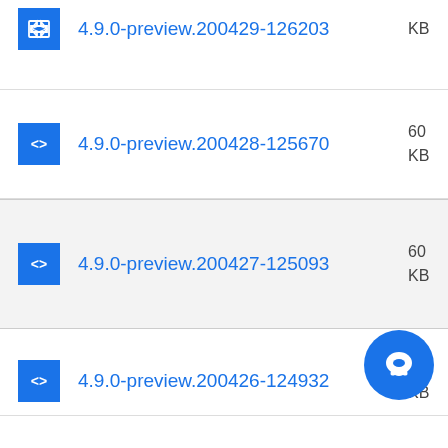4.9.0-preview.200429-126203  KB
4.9.0-preview.200428-125670  60 KB
4.9.0-preview.200427-125093  60 KB
4.9.0-preview.200426-124932  60 KB